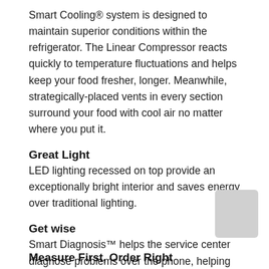Smart Cooling® system is designed to maintain superior conditions within the refrigerator. The Linear Compressor reacts quickly to temperature fluctuations and helps keep your food fresher, longer. Meanwhile, strategically-placed vents in every section surround your food with cool air no matter where you put it.
Great Light
LED lighting recessed on top provide an exceptionally bright interior and saves energy over traditional lighting.
Get wise
Smart Diagnosis™ helps the service center diagnose problems over the phone, helping you troubleshoot quickly.
Measure First, Order Right